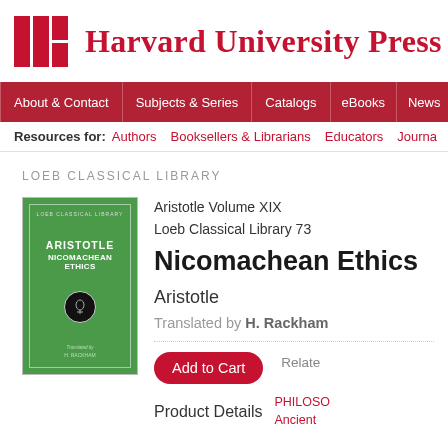[Figure (logo): Harvard University Press logo with red grid icon and text]
About & Contact | Subjects & Series | Catalogs | eBooks | News | Ord...
Resources for: Authors  Booksellers & Librarians  Educators  Journa...
LOEB CLASSICAL LIBRARY
[Figure (photo): Cover of Aristotle Nicomachean Ethics, Loeb Classical Library, green cover, translated by H. Rackham]
Aristotle Volume XIX
Loeb Classical Library 73
Nicomachean Ethics
Aristotle
Translated by H. Rackham
Add to Cart
Relate...
Product Details
PHILOSO...
Ancient...